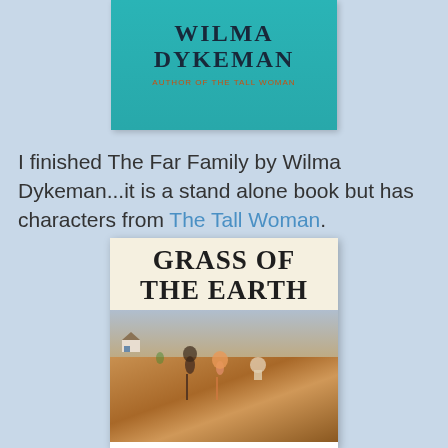[Figure (illustration): Book cover of 'The Far Family' by Wilma Dykeman with teal background and author name text. Shows WILMA DYKEMAN and subtitle 'Author of The Tall Woman' in orange.]
I finished The Far Family by Wilma Dykeman...it is a stand alone book but has characters from The Tall Woman.
[Figure (illustration): Book cover of 'Grass of the Earth' showing title in large serif font on cream background above an illustration of two children running through a field with a farmhouse in background.]